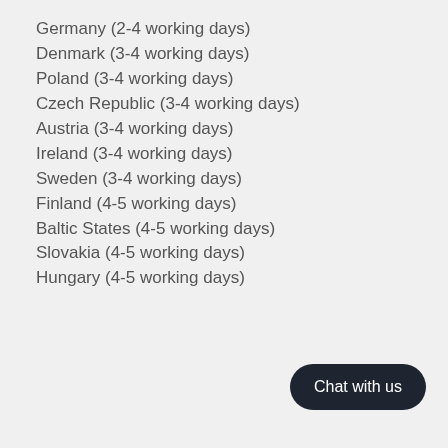Germany (2-4 working days)
Denmark (3-4 working days)
Poland (3-4 working days)
Czech Republic (3-4 working days)
Austria (3-4 working days)
Ireland (3-4 working days)
Sweden (3-4 working days)
Finland (4-5 working days)
Baltic States (4-5 working days)
Slovakia (4-5 working days)
Hungary (4-5 working days)
Chat with us